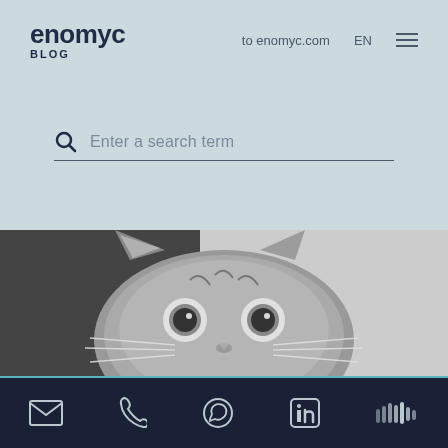enomyc BLOG | to enomyc.com | EN
Enter a search term
[Figure (photo): Black and white close-up photo of a wide-eyed tabby cat looking surprised or startled at the camera]
Footer with social icons: email, phone, WhatsApp, LinkedIn, SoundCloud